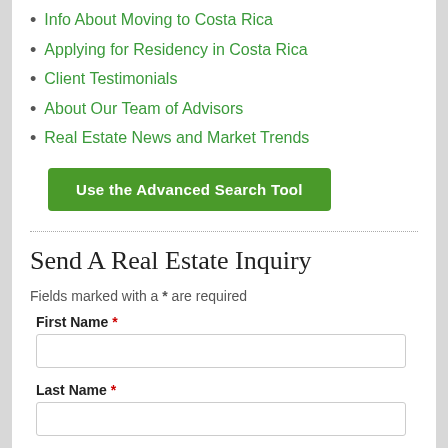Info About Moving to Costa Rica
Applying for Residency in Costa Rica
Client Testimonials
About Our Team of Advisors
Real Estate News and Market Trends
[Figure (other): Green button labeled 'Use the Advanced Search Tool']
Send A Real Estate Inquiry
Fields marked with a * are required
First Name *
Last Name *